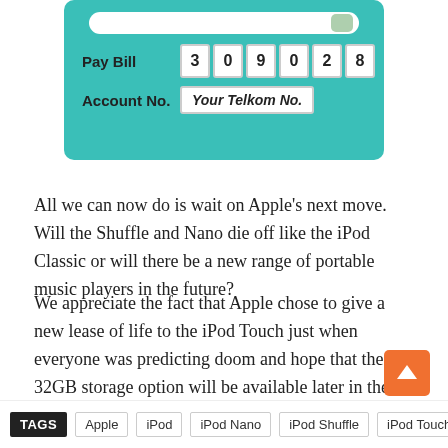[Figure (screenshot): Telkom payment interface showing a slider, Pay Bill number 3 0 9 0 2 8, and Account No. field with 'Your Telkom No.']
All we can now do is wait on Apple’s next move. Will the Shuffle and Nano die off like the iPod Classic or will there be a new range of portable music players in the future?
We appreciate the fact that Apple chose to give a new lease of life to the iPod Touch just when everyone was predicting doom and hope that the 32GB storage option will be available later in the year when the new line-up of iPhones is finally unveiled.
TAGS  Apple  iPod  iPod Nano  iPod Shuffle  iPod Touch